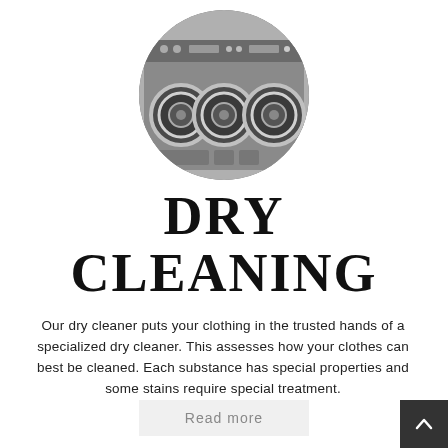[Figure (photo): Circular photo of industrial washing machines / dry cleaning machines in a row, metallic finish]
DRY CLEANING
Our dry cleaner puts your clothing in the trusted hands of a specialized dry cleaner. This assesses how your clothes can best be cleaned. Each substance has special properties and some stains require special treatment.
Read more